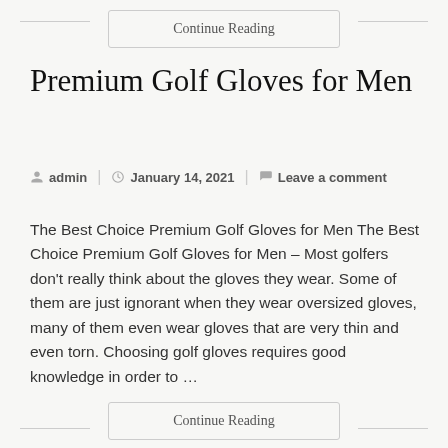Continue Reading
Premium Golf Gloves for Men
admin  |  January 14, 2021  |  Leave a comment
The Best Choice Premium Golf Gloves for Men The Best Choice Premium Golf Gloves for Men – Most golfers don't really think about the gloves they wear. Some of them are just ignorant when they wear oversized gloves, many of them even wear gloves that are very thin and even torn. Choosing golf gloves requires good knowledge in order to …
Continue Reading